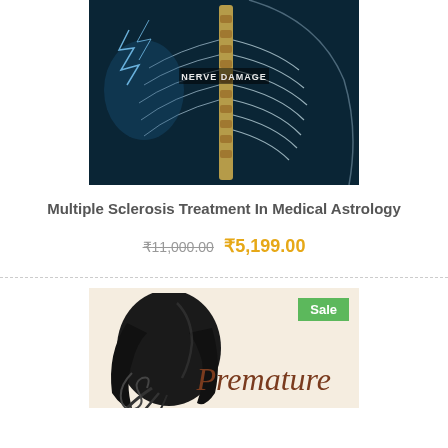[Figure (illustration): Medical illustration of nerve damage showing a human spine and nervous system glowing in blue with neural network patterns and 'NERVE DAMAGE' text label]
Multiple Sclerosis Treatment In Medical Astrology
₹11,000.00 ₹5,199.00
[Figure (illustration): Product image for Premature treatment book/service with a woman's hair silhouette illustration on a cream/beige background with 'Sale' badge and 'Premature' text in brown italic serif font]